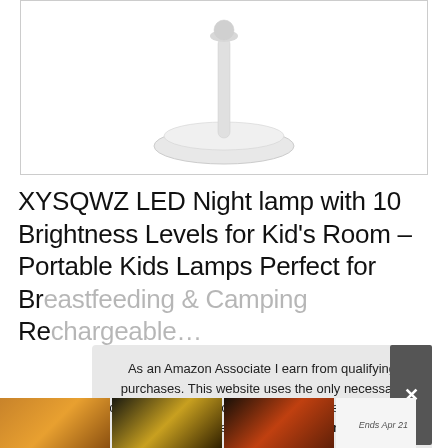[Figure (photo): White LED desk lamp with thin stem and wide oval base, shown against white background, inside a bordered product image box]
XYSQWZ LED Night lamp with 10 Brightness Levels for Kid's Room – Portable Kids Lamps Perfect for Br… Re…
As an Amazon Associate I earn from qualifying purchases. This website uses the only necessary cookies to ensure you get the best experience on our website. More information
[Figure (photo): Row of small product thumbnail images at the bottom of the page]